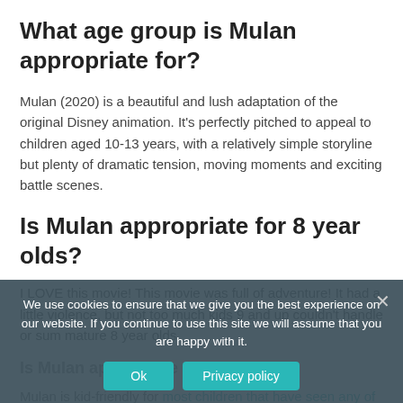What age group is Mulan appropriate for?
Mulan (2020) is a beautiful and lush adaptation of the original Disney animation. It's perfectly pitched to appeal to children aged 10-13 years, with a relatively simple storyline but plenty of dramatic tension, moving moments and exciting battle scenes.
Is Mulan appropriate for 8 year olds?
I LOVE this movie! This movie was full of adventure! It had a little violence, but not too much kids 9 and up couldn't handle or sum mature 8 year olds.
Is Mulan appropriate for 3 year old?
Mulan is kid-friendly for most children that have seen any of the Marvel movies or Star Wars movies, but I would be cautious if you have a child sensitive to
We use cookies to ensure that we give you the best experience on our website. If you continue to use this site we will assume that you are happy with it.